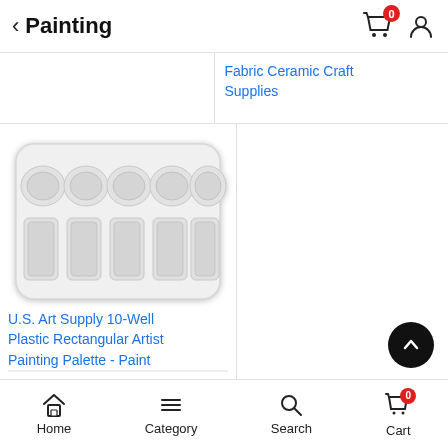Painting
Fabric Ceramic Craft Supplies
[Figure (photo): White plastic 10-well rectangular artist painting palette with 5 round wells on top and 5 rectangular wells below]
U.S. Art Supply 10-Well Plastic Rectangular Artist Painting Palette - Paint
Home  Category  Search  Cart